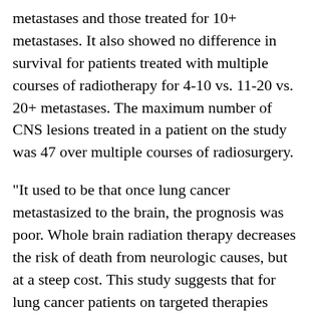metastases and those treated for 10+ metastases. It also showed no difference in survival for patients treated with multiple courses of radiotherapy for 4-10 vs. 11-20 vs. 20+ metastases. The maximum number of CNS lesions treated in a patient on the study was 47 over multiple courses of radiosurgery.
"It used to be that once lung cancer metastasized to the brain, the prognosis was poor. Whole brain radiation therapy decreases the risk of death from neurologic causes, but at a steep cost. This study suggests that for lung cancer patients on targeted therapies whose cancer has spread to the brain, the use of radiosurgery makes it rare to die of causes related to brain metastases," says Tyler Robin, MD, PhD, senior resident in radiation oncology at the CU School of Medicine and the paper's first author. Robin collaborated with senior author, Chad G. Rusthoven, MD, assistant professor in Radiation Oncology at the University of Colorado Cancer